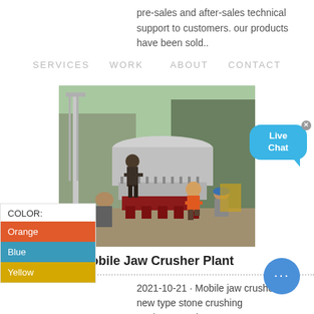pre-sales and after-sales technical support to customers. our products have been sold..
SERVICES   WORK   ABOUT   CONTACT
[Figure (photo): Workers assembling a large industrial cone crusher machine outdoors at a quarry site. Several workers in hard hats are seen working around the grey metal crushing equipment.]
Mobile Jaw Crusher Plant
COLOR:
Orange
Blue
Yellow
[Figure (other): Live Chat bubble button (teal speech bubble with 'Live Chat' text)]
[Figure (other): Chat circle button with ellipsis dots]
2021-10-21 · Mobile jaw crusher is new type stone crushing equipment. It integrates